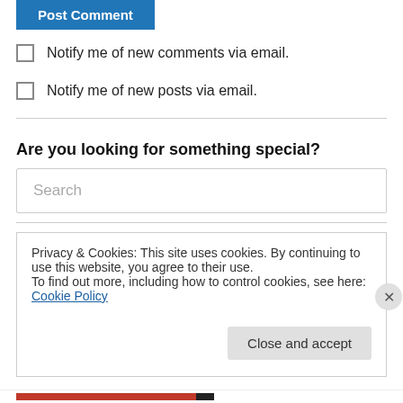[Figure (screenshot): Blue 'Post Comment' button]
Notify me of new comments via email.
Notify me of new posts via email.
Are you looking for something special?
Search
Privacy & Cookies: This site uses cookies. By continuing to use this website, you agree to their use.
To find out more, including how to control cookies, see here: Cookie Policy
Close and accept